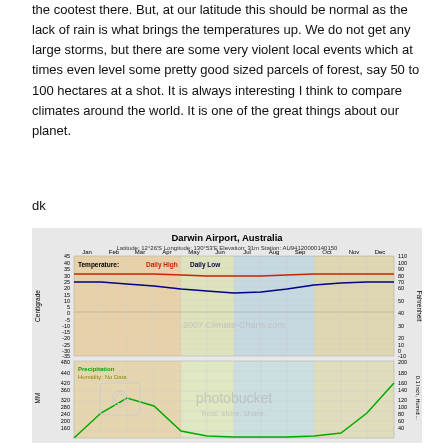the cootest there. But, at our latitude this should be normal as the lack of rain is what brings the temperatures up. We do not get any large storms, but there are some very violent local events which at times even level some pretty good sized parcels of forest, say 50 to 100 hectares at a shot. It is always interesting I think to compare climates around the world. It is one of the great things about our planet.
dk
[Figure (continuous-plot): Climate chart for Darwin Airport, Australia. Top panel shows temperature lines (Daily High in red ~31°C, Daily Low in blue ~24°C dipping to ~20°C in dry season) across months Jan-Dec with colored seasonal background zones (orange for wet/hot, blue-purple for dry). Y-axes: Centigrade (-35 to 45) and Fahrenheit (-30 to 110). Station: AU94120000140150, Latitude 12°26'S, Longitude 130°53'E, Elevation 31m. Bottom panel shows Precipitation (green line, MM axis 160-480) and Humidity: No Data. Photobucket watermark overlay visible. Copyright 2007 Climate-Charts.com.]